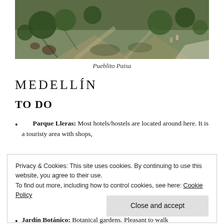[Figure (photo): Aerial/overhead view of Pueblito Paisa, showing trees, walkways, and small structures with people visible from above.]
Pueblito Paisa
MEDELLÍN
TO DO
Parque Lleras: Most hotels/hostels are located around here. It is a touristy area with shops,
Privacy & Cookies: This site uses cookies. By continuing to use this website, you agree to their use.
To find out more, including how to control cookies, see here: Cookie Policy
Jardín Botánico: Botanical gardens. Pleasant to walk